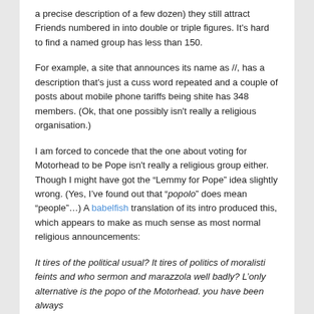a precise description of a few dozen) they still attract Friends numbered in into double or triple figures. It's hard to find a named group has less than 150.
For example, a site that announces its name as //, has a description that's just a cuss word repeated and a couple of posts about mobile phone tariffs being shite has 348 members. (Ok, that one possibly isn't really a religious organisation.)
I am forced to concede that the one about voting for Motorhead to be Pope isn't really a religious group either. Though I might have got the "Lemmy for Pope" idea slightly wrong. (Yes, I've found out that "popolo" does mean "people"…) A babelfish translation of its intro produced this, which appears to make as much sense as most normal religious announcements:
It tires of the political usual? It tires of politics of moralisti feints and who sermon and marazzola well badly? L'only alternative is the popo of the Motorhead. you have been always